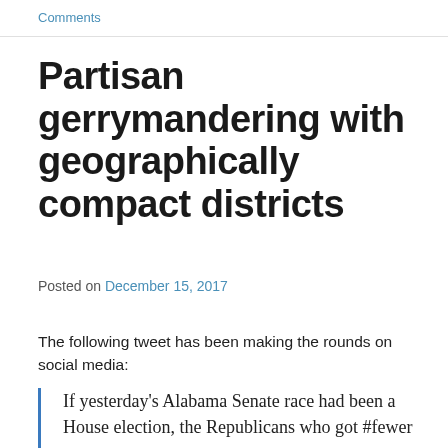Comments
Partisan gerrymandering with geographically compact districts
Posted on December 15, 2017
The following tweet has been making the rounds on social media:
If yesterday's Alabama Senate race had been a House election, the Republicans who got #fewer votes…